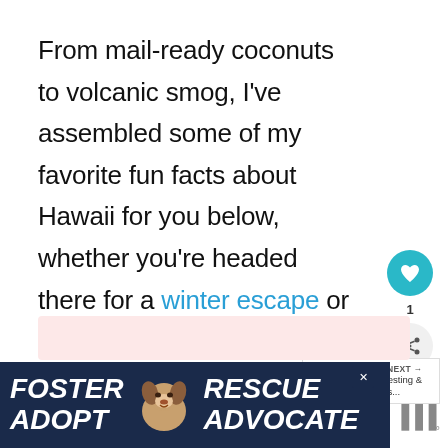From mail-ready coconuts to volcanic smog, I've assembled some of my favorite fun facts about Hawaii for you below, whether you're headed there for a winter escape or are just curious to learn more about the Aloha State. Enjoy!
[Figure (other): Social sharing sidebar with heart/like button (teal circle with heart icon), count label '1', and share button (gray circle with share icon)]
[Figure (other): What's Next widget showing a thumbnail of a road/mountain scene with text 'WHAT'S NEXT → 20+ Interesting & Fun Facts...']
[Figure (other): Pink/salmon colored bar, likely a social sharing or subscription prompt area]
[Figure (other): Advertisement banner with dark navy background showing 'FOSTER ADOPT' on left, a beagle dog image in center, 'RESCUE ADVOCATE' on right with a close X button]